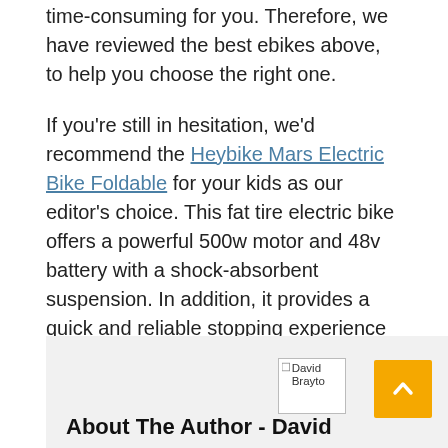time-consuming for you. Therefore, we have reviewed the best ebikes above, to help you choose the right one.
If you're still in hesitation, we'd recommend the Heybike Mars Electric Bike Foldable for your kids as our editor's choice. This fat tire electric bike offers a powerful 500w motor and 48v battery with a shock-absorbent suspension. In addition, it provides a quick and reliable stopping experience with a dual disc brakes mechanism.
[Figure (photo): Author photo placeholder showing 'David Brayto' (partially visible) with a scroll-to-top button (orange square with up arrow) and an 'About The Author - David' section header below]